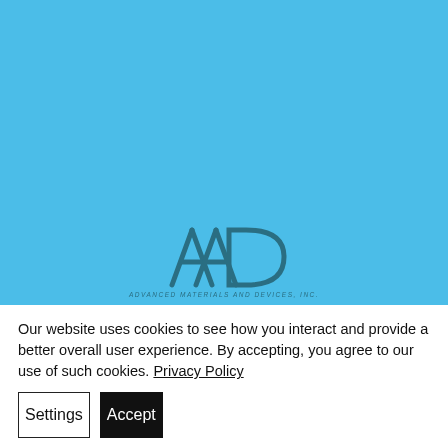[Figure (logo): AAD Advanced Materials and Devices, Inc. logo on blue background. Stylized 'AAD' letters in dark teal with italic company name below.]
Our website uses cookies to see how you interact and provide a better overall user experience. By accepting, you agree to our use of such cookies. Privacy Policy
Settings
Accept